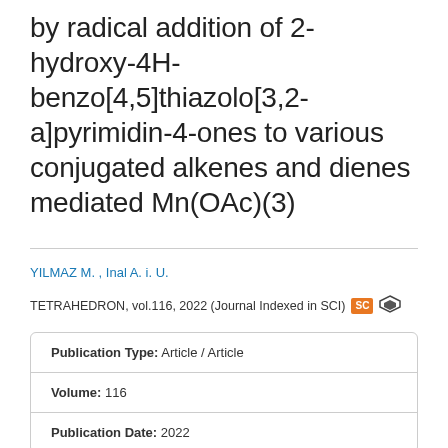by radical addition of 2-hydroxy-4H-benzo[4,5]thiazolo[3,2-a]pyrimidin-4-ones to various conjugated alkenes and dienes mediated Mn(OAc)(3)
YILMAZ M. , Inal A. i. U.
TETRAHEDRON, vol.116, 2022 (Journal Indexed in SCI)
| Field | Value |
| --- | --- |
| Publication Type: | Article / Article |
| Volume: | 116 |
| Publication Date: | 2022 |